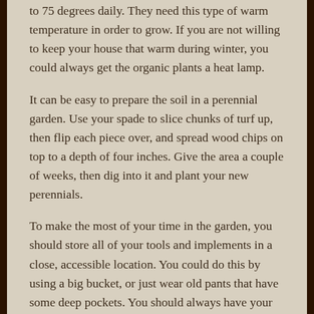to 75 degrees daily. They need this type of warm temperature in order to grow. If you are not willing to keep your house that warm during winter, you could always get the organic plants a heat lamp.
It can be easy to prepare the soil in a perennial garden. Use your spade to slice chunks of turf up, then flip each piece over, and spread wood chips on top to a depth of four inches. Give the area a couple of weeks, then dig into it and plant your new perennials.
To make the most of your time in the garden, you should store all of your tools and implements in a close, accessible location. You could do this by using a big bucket, or just wear old pants that have some deep pockets. You should always have your gloves, pruning shears and a trowel close to you.
After your seeds begin to sprout, it is not as important to keep them warm. Take your plants out of the heat once they start to